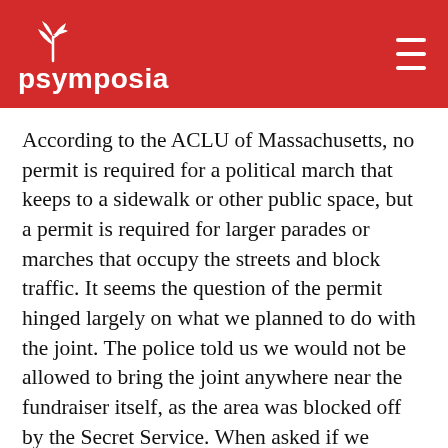psymposia
According to the ACLU of Massachusetts, no permit is required for a political march that keeps to a sidewalk or other public space, but a permit is required for larger parades or marches that occupy the streets and block traffic. It seems the question of the permit hinged largely on what we planned to do with the joint. The police told us we would not be allowed to bring the joint anywhere near the fundraiser itself, as the area was blocked off by the Secret Service. When asked if we would be arrested, they simply replied there would be “consequences”.